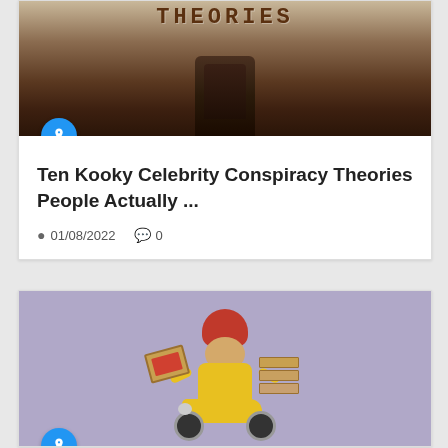[Figure (photo): Typewriter keys with the word THEORIES typed on paper, dark vintage typewriter image]
Ten Kooky Celebrity Conspiracy Theories People Actually ...
01/08/2022  0
[Figure (photo): Smiling pizza delivery man on a yellow scooter holding pizza boxes, wearing a red helmet and yellow t-shirt, purple background]